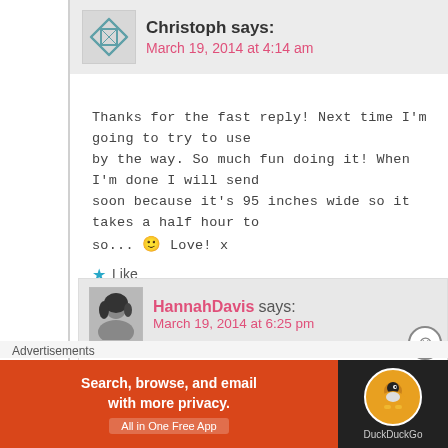Christoph says: March 19, 2014 at 4:14 am
Thanks for the fast reply! Next time I'm going to try to use by the way. So much fun doing it! When I'm done I will send soon because it's 95 inches wide so it takes a half hour to so... 🙂 Love! x
★ Like
Reply
HannahDavis says: March 19, 2014 at 6:25 pm
Thank you! Your blanket sounds great, I look forward to
★ Like
Reply
Advertisements
[Figure (infographic): DuckDuckGo advertisement banner: orange section with text 'Search, browse, and email with more privacy. All in One Free App' and dark section with DuckDuckGo duck logo]